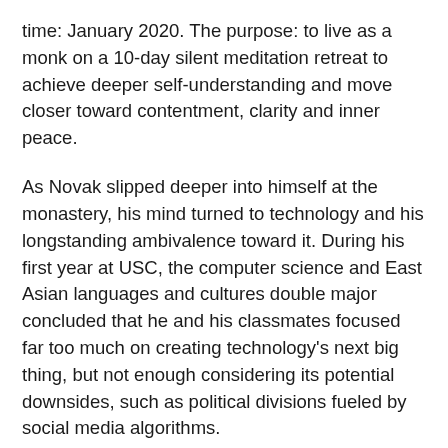time: January 2020. The purpose: to live as a monk on a 10-day silent meditation retreat to achieve deeper self-understanding and move closer toward contentment, clarity and inner peace.
As Novak slipped deeper into himself at the monastery, his mind turned to technology and his longstanding ambivalence toward it. During his first year at USC, the computer science and East Asian languages and cultures double major concluded that he and his classmates focused far too much on creating technology's next big thing, but not enough considering its potential downsides, such as political divisions fueled by social media algorithms.
Now, at the monastery, Novak's recurring goal of reducing his time on social media was fully realized in an environment where no personal devices were allowed. Ten days without smartphones and filled with meditation left him feeling less